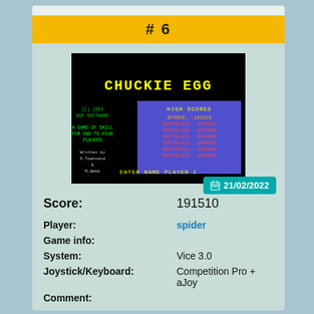# 6
[Figure (screenshot): Chuckie Egg game screenshot showing title screen with high scores. Yellow CHUCKIE EGG title text, copyright 1984 A&F SOFTWARE, game description, written by S.Townsend & M.Webb on left side. High scores table on right with purple background showing SPIDER...191510 at top, followed by NOSTALGIA entries. Bottom text: ENTER NAME PLAYER 1]
21/02/2022
Score: 191510
Player: spider
Game info:
System: Vice 3.0
Joystick/Keyboard: Competition Pro + aJoy
Comment: